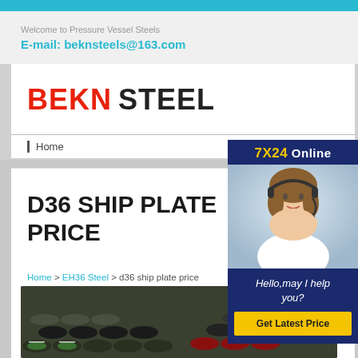Welcome to Pressure Vessel Steels
E-mail: beknsteels@163.com
[Figure (logo): BEKN STEEL logo with BEKN in red and STEEL in black bold text]
Home
D36 SHIP PLATE PRICE
Home > EH36 Steel > d36 ship plate price
[Figure (photo): Stack of steel pipes/tubes in a warehouse, green, black and red colored ends visible]
[Figure (photo): 7X24 Online customer service ad panel with female operator wearing headset. Text: Hello,may I help you? Get Latest Price button.]